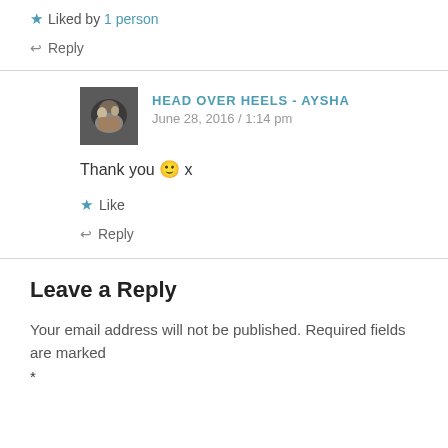★ Liked by 1 person
↩ Reply
HEAD OVER HEELS - AYSHA
June 28, 2016 / 1:14 pm
Thank you 🙂 x
★ Like
↩ Reply
Leave a Reply
Your email address will not be published. Required fields are marked *